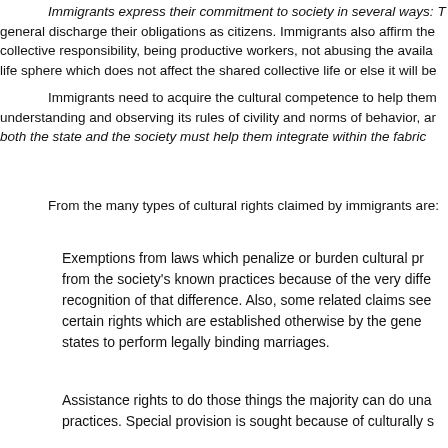Immigrants express their commitment to society in several ways: T general discharge their obligations as citizens. Immigrants also affirm the collective responsibility, being productive workers, not abusing the availa life sphere which does not affect the shared collective life or else it will be
Immigrants need to acquire the cultural competence to help them understanding and observing its rules of civility and norms of behavior, ar both the state and the society must help them integrate within the fabric
From the many types of cultural rights claimed by immigrants are:
Exemptions from laws which penalize or burden cultural pr from the society's known practices because of the very diffe recognition of that difference. Also, some related claims see certain rights which are established otherwise by the gene states to perform legally binding marriages.
Assistance rights to do those things the majority can do una practices. Special provision is sought because of culturally s